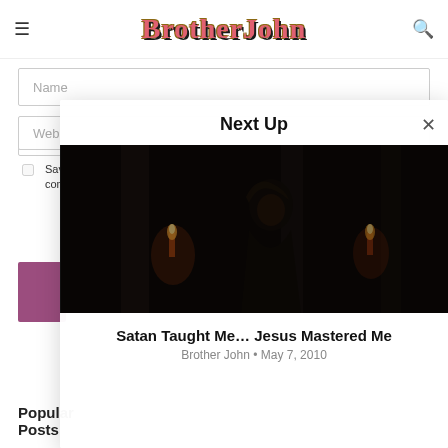BrotherJohn
Name
Email
Web
Save my name, email, and website in this browser for the next time I comment.
[Figure (screenshot): Purple submit comment button]
Popular Posts
Next Up
[Figure (photo): Dark atmospheric image showing a person near candles in a dark stone setting]
Satan Taught Me… Jesus Mastered Me
Brother John • May 7, 2010